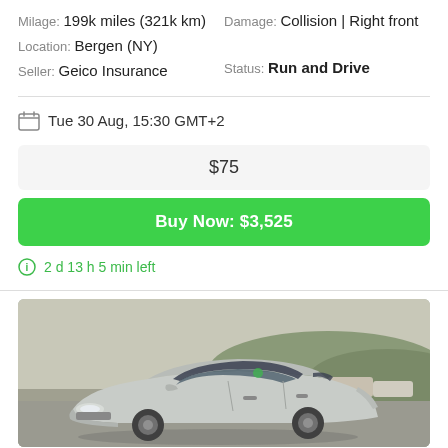Milage: 199k miles (321k km)
Damage: Collision | Right front
Location: Bergen (NY)
Status: Run and Drive
Seller: Geico Insurance
Tue 30 Aug, 15:30 GMT+2
$75
Buy Now: $3,525
2 d 13 h 5 min left
[Figure (photo): Silver sedan car (appears to be a Chevrolet Cruze) parked in an outdoor lot, front three-quarter view, with other cars and a hillside visible in background.]